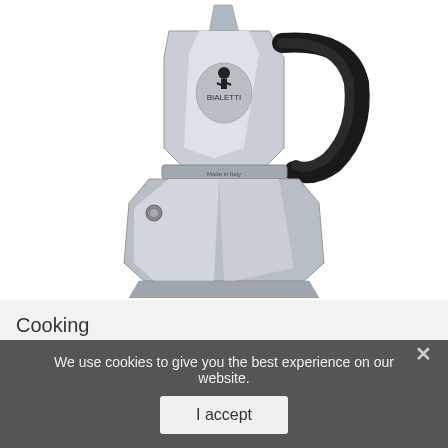[Figure (photo): A Bialetti Moka Express stovetop espresso maker / coffee pot in silver/aluminum with a black handle, photographed on a white background.]
Cooking
Baking
Beverages & Wine
We use cookies to give you the best experience on our website.
I accept